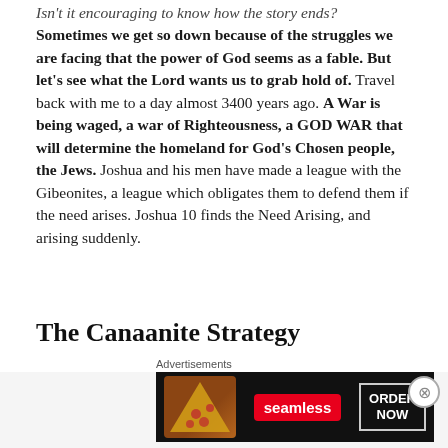Isn't it encouraging to know how the story ends? Sometimes we get so down because of the struggles we are facing that the power of God seems as a fable. But let's see what the Lord wants us to grab hold of. Travel back with me to a day almost 3400 years ago. A War is being waged, a war of Righteousness, a GOD WAR that will determine the homeland for God's Chosen people, the Jews. Joshua and his men have made a league with the Gibeonites, a league which obligates them to defend them if the need arises. Joshua 10 finds the Need Arising, and arising suddenly.
The Canaanite Strategy
[Figure (other): Advertisement banner for Seamless food ordering service showing pizza image on the left, Seamless logo in red in the center, and ORDER NOW button on the right with dark background]